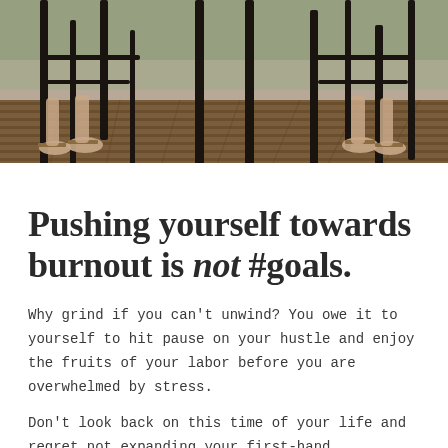[Figure (photo): Photo of two people's feet/legs seated in metal chairs on a wooden deck, viewed from below the table. Dark chair legs and furniture visible.]
Pushing yourself towards burnout is not #goals.
Why grind if you can't unwind? You owe it to yourself to hit pause on your hustle and enjoy the fruits of your labor before you are overwhelmed by stress.
Don't look back on this time of your life and regret not expanding your first-hand experience of the